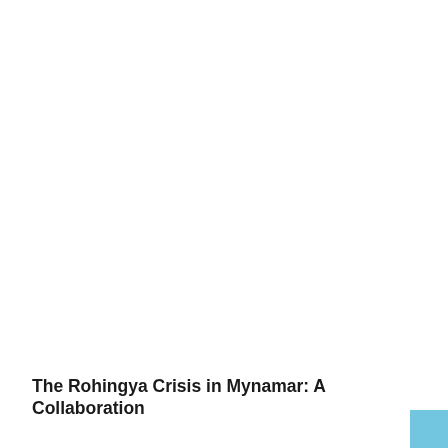The Rohingya Crisis in Mynamar: A Collaboration